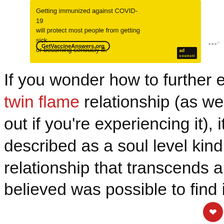[Figure (screenshot): Yellow ad banner for GetVaccineAnswers.org with text about COVID-19 immunization, Ad Council logo bottom right]
If you wonder how to further explain the twin flame relationship (as well as figure out if you’re experiencing it), it can be described as a soul level kind of relationship that transcends anything y… believed was possible to find in real lif…
[Figure (screenshot): What's Next panel showing thumbnail and label '10 Revealing Signs You A...' with heart and share buttons showing 485 likes]
[Figure (photo): Partial photo strip showing a person with dark hair against a wooden background]
[Figure (screenshot): Yellow bottom ad banner: It's okay to question. Now get the facts on COVID-19 vaccines. GetVaccineAnswers.org]